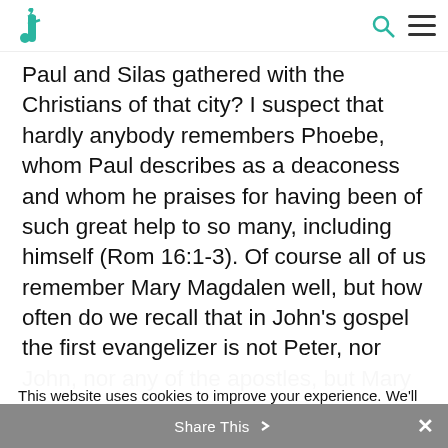[Logo: F] [Search icon] [Menu icon]
Paul and Silas gathered with the Christians of that city? I suspect that hardly anybody remembers Phoebe, whom Paul describes as a deaconess and whom he praises for having been of such great help to so many, including himself (Rom 16:1-3). Of course all of us remember Mary Magdalen well, but how often do we recall that in John's gospel the first evangelizer is not Peter, nor John, nor any of the apostles, but Mary
This website uses cookies to improve your experience. We'll assume you're ok with this, but you can opt-out if you wish.
Accept   Reject   Cookie Policy
Share This ×